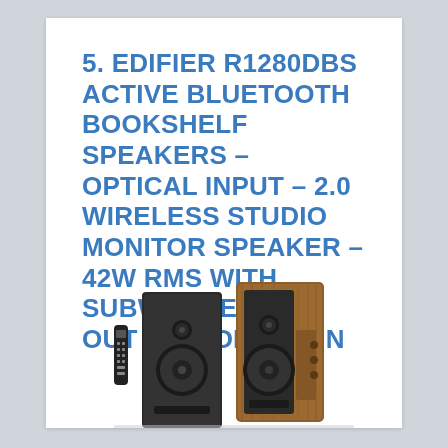5. EDIFIER R1280DBS ACTIVE BLUETOOTH BOOKSHELF SPEAKERS – OPTICAL INPUT – 2.0 WIRELESS STUDIO MONITOR SPEAKER – 42W RMS WITH SUBWOOFER LINE OUT – WOOD GRAIN
[Figure (photo): Photo of Edifier R1280DBS bookshelf speakers (two speakers and a remote control) with wood grain finish]